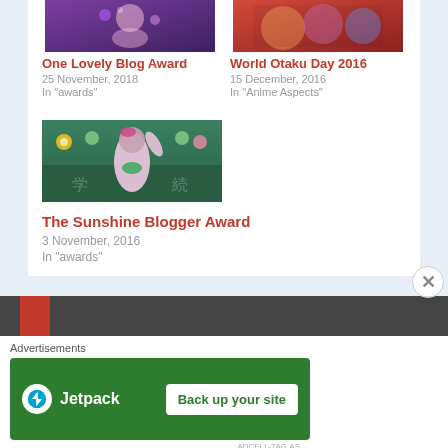[Figure (photo): Anime girl thumbnail for One Lovely Blog Award]
One Lovely Blog Award
25 November, 2018
In "awards"
[Figure (photo): Anime group thumbnail for World Otaku Day 2016]
World Otaku Day 2016
15 December, 2016
In "Anime Aspects"
[Figure (photo): Anime girl at chalkboard for The Sunshine Blogger Award]
The Sunshine Blogger Award
3 November, 2016
In "awards"
[Figure (screenshot): Jetpack advertisement banner - Back up your site]
Advertisements